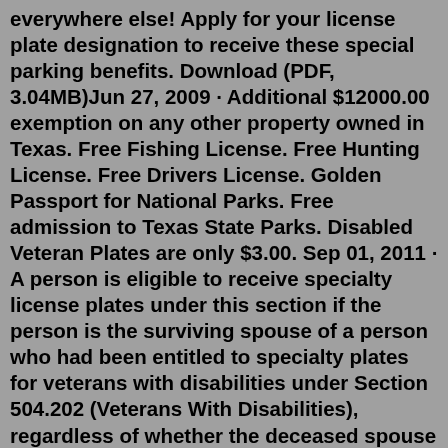everywhere else! Apply for your license plate designation to receive these special parking benefits. Download (PDF, 3.04MB)Jun 27, 2009 · Additional $12000.00 exemption on any other property owned in Texas. Free Fishing License. Free Hunting License. Free Drivers License. Golden Passport for National Parks. Free admission to Texas State Parks. Disabled Veteran Plates are only $3.00. Sep 01, 2011 · A person is eligible to receive specialty license plates under this section if the person is the surviving spouse of a person who had been entitled to specialty plates for veterans with disabilities under Section 504.202 (Veterans With Disabilities), regardless of whether the deceased spouse was issued plates under that section. (c) Apply for disabled veteran license plates and parking placards. LICENSE TO CARRY A HANDGUN. The License to Carry (LTC) a Handgun service allows you to apply for, renew, or check the status of a handgun license or instructor certification online. The Texas Department of Public Safety offers